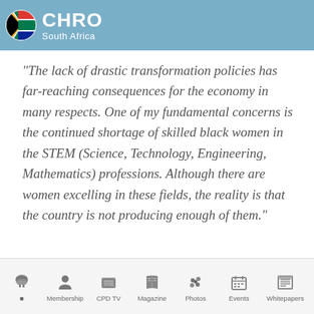CHRO South Africa
"The lack of drastic transformation policies has far-reaching consequences for the economy in many respects. One of my fundamental concerns is the continued shortage of skilled black women in the STEM (Science, Technology, Engineering, Mathematics) professions. Although there are women excelling in these fields, the reality is that the country is not producing enough of them."
Home | Membership | CPD TV | Magazine | Photos | Events | Whitepapers | Pa...